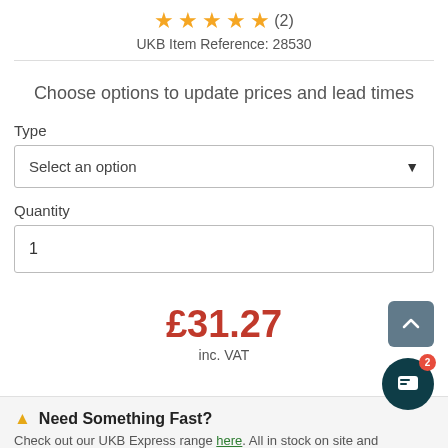★★★★★ (2)
UKB Item Reference: 28530
Choose options to update prices and lead times
Type
Select an option
Quantity
1
£31.27 inc. VAT
Need Something Fast? Check out our UKB Express range here. All in stock on site and